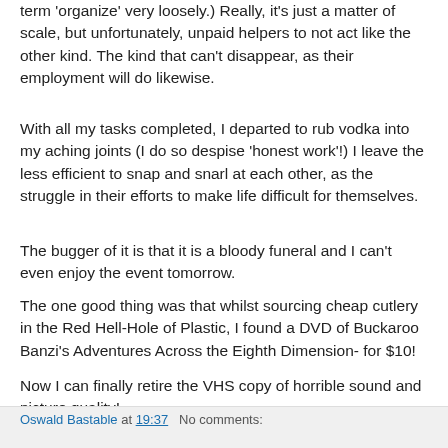term 'organize' very loosely.) Really, it's just a matter of scale, but unfortunately, unpaid helpers to not act like the other kind. The kind that can't disappear, as their employment will do likewise.
With all my tasks completed, I departed to rub vodka into my aching joints (I do so despise 'honest work'!) I leave the less efficient to snap and snarl at each other, as the struggle in their efforts to make life difficult for themselves.
The bugger of it is that it is a bloody funeral and I can't even enjoy the event tomorrow.
The one good thing was that whilst sourcing cheap cutlery in the Red Hell-Hole of Plastic, I found a DVD of Buckaroo Banzi's Adventures Across the Eighth Dimension- for $10!
Now I can finally retire the VHS copy of horrible sound and picture quality!
Oswald Bastable at 19:37   No comments: